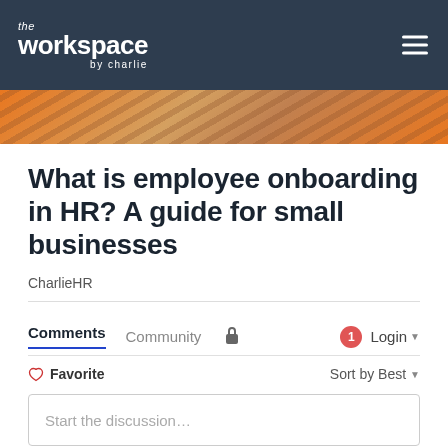[Figure (logo): The Workspace by Charlie logo in white text on dark blue-grey navigation bar with hamburger menu icon]
[Figure (photo): Partial hero image with orange and brown textured pattern, appears to be a decorative banner image]
What is employee onboarding in HR? A guide for small businesses
CharlieHR
Comments
Community
Login
Favorite
Sort by Best
Start the discussion…